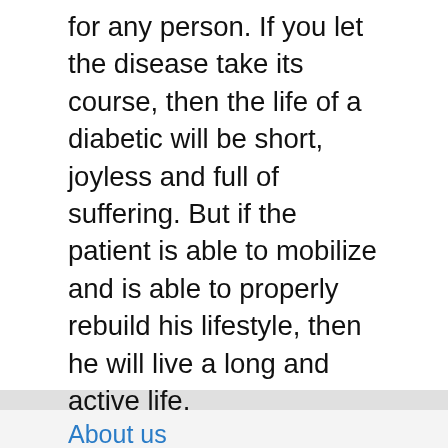for any person. If you let the disease take its course, then the life of a diabetic will be short, joyless and full of suffering. But if the patient is able to mobilize and is able to properly rebuild his lifestyle, then he will live a long and active life.
About us
Contact
Privacy Policy & Cookies
ATTENTION TO RIGHT HOLDERS! All materials are posted on the site strictly for informational and educational purposes! If you believe that the posting of any material